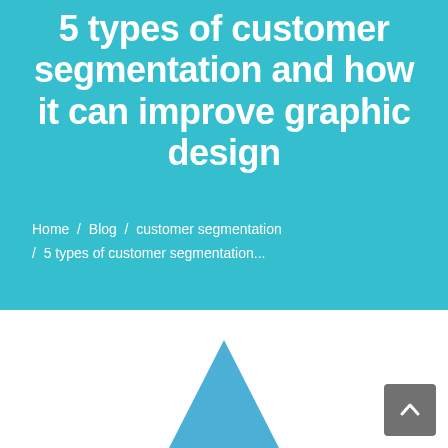5 types of customer segmentation and how it can improve graphic design
Home / Blog / customer segmentation / 5 types of customer segmentation...
[Figure (illustration): A teal/blue triangle shape partially visible at the bottom of the page on a white background]